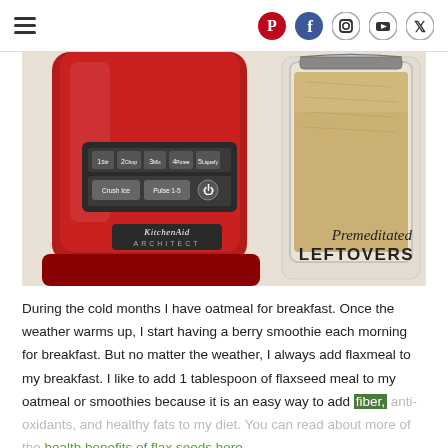Navigation header with hamburger menu and social icons (Pinterest, Facebook, Instagram, YouTube, Twitter)
[Figure (photo): A red KitchenAid Architect blender next to a glass jar filled with flaxseed meal, on a light-colored surface. The blender shows numbered speed buttons (1-5) and controls including Crush Ice, Pulse, and power. A watermark reads 'Premeditated LEFTOVERS'.]
During the cold months I have oatmeal for breakfast. Once the weather warms up, I start having a berry smoothie each morning for breakfast. But no matter the weather, I always add flaxmeal to my breakfast. I like to add 1 tablespoon of flaxseed meal to my oatmeal or smoothies because it is an easy way to add fiber, anti-oxidants, and healthy fats to my diet. You can read about more of the health benefits of flax seeds here.